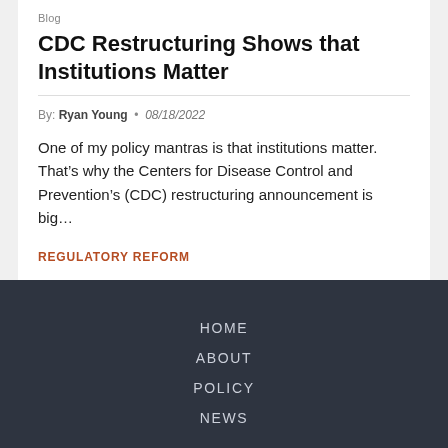Blog
CDC Restructuring Shows that Institutions Matter
By: Ryan Young • 08/18/2022
One of my policy mantras is that institutions matter. That's why the Centers for Disease Control and Prevention's (CDC) restructuring announcement is big...
REGULATORY REFORM
HOME
ABOUT
POLICY
NEWS